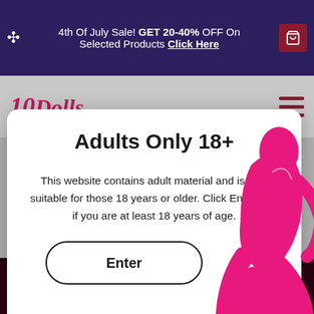4th Of July Sale! GET 20-40% OFF On Selected Products Click Here
[Figure (logo): 10 Dolls website logo in pink cursive script]
Adults Only 18+
This website contains adult material and is only suitable for those 18 years or older. Click Enter only if you are at least 18 years of age.
Enter